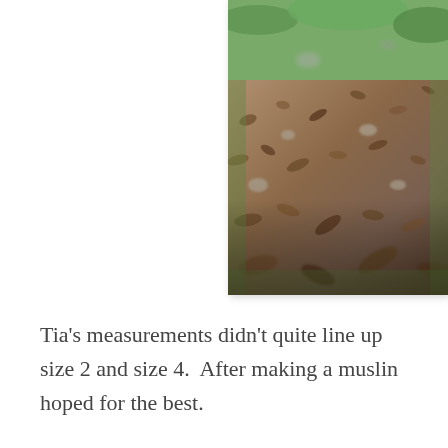[Figure (photo): Outdoor ground-level photo showing dirt path with scattered dry leaves, rocks, and patches of green grass, taken with shallow depth of field so background is blurred.]
Tia's measurements didn't quite line up size 2 and size 4.  After making a muslin hoped for the best.